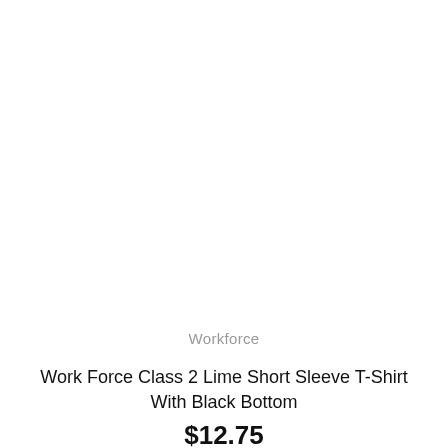Workforce
Work Force Class 2 Lime Short Sleeve T-Shirt With Black Bottom
$12.75